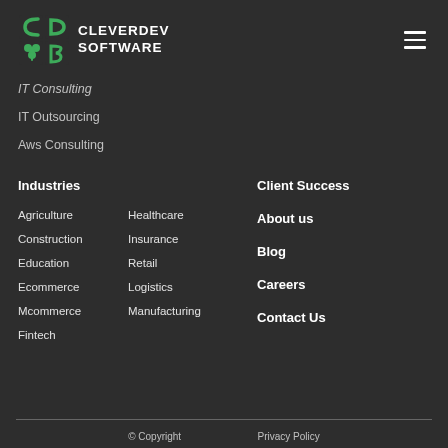[Figure (logo): CleverDev Software logo with green shamrock/CD icon and white text CLEVERDEV SOFTWARE]
IT Consulting
IT Outsourcing
Aws Consulting
Industries
Agriculture
Construction
Education
Ecommerce
Mcommerce
Fintech
Healthcare
Insurance
Retail
Logistics
Manufacturing
Client Success
About us
Blog
Careers
Contact Us
© Copyright    Privacy Policy